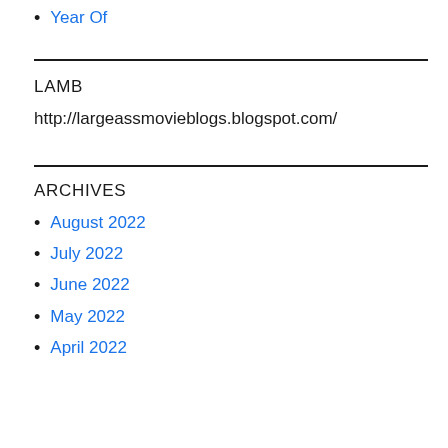Year Of
LAMB
http://largeassmovieblogs.blogspot.com/
ARCHIVES
August 2022
July 2022
June 2022
May 2022
April 2022